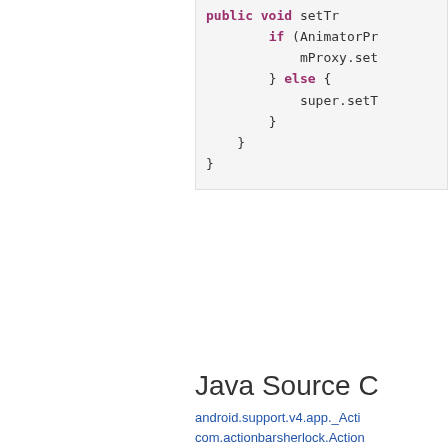[Figure (screenshot): Code snippet showing Java method with public void, if/else blocks and curly braces on a light gray background]
Java Source C
android.support.v4.app._Acti...
com.actionbarsherlock.Action...
com.actionbarsherlock.app.A...
com.actionbarsherlock.app.S...
com.actionbarsherlock.app.S...
com.actionbarsherlock.app.S...
com.actionbarsherlock.app.S...